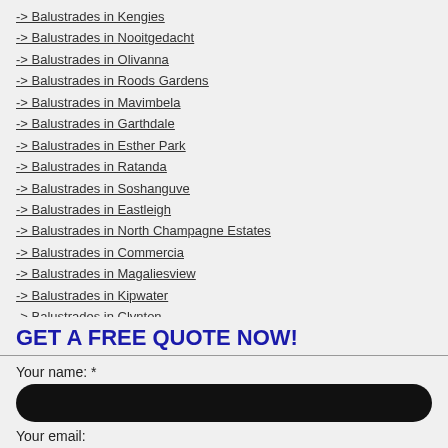-> Balustrades in Kengies
-> Balustrades in Nooitgedacht
-> Balustrades in Olivanna
-> Balustrades in Roods Gardens
-> Balustrades in Mavimbela
-> Balustrades in Garthdale
-> Balustrades in Esther Park
-> Balustrades in Ratanda
-> Balustrades in Soshanguve
-> Balustrades in Eastleigh
-> Balustrades in North Champagne Estates
-> Balustrades in Commercia
-> Balustrades in Magaliesview
-> Balustrades in Kipwater
-> Balustrades in Clynton
GET A FREE QUOTE NOW!
Your name: *
Your email: